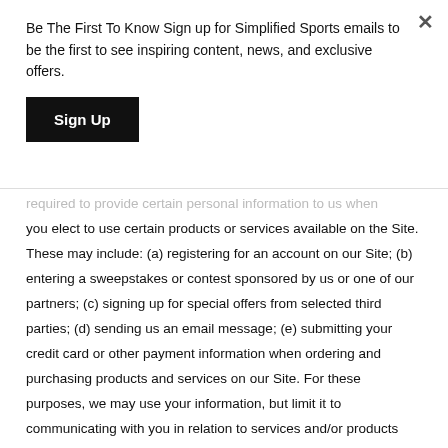Be The First To Know Sign up for Simplified Sports emails to be the first to see inspiring content, news, and exclusive offers.
Sign Up
required to provide certain personal information to us when you elect to use certain products or services available on the Site. These may include: (a) registering for an account on our Site; (b) entering a sweepstakes or contest sponsored by us or one of our partners; (c) signing up for special offers from selected third parties; (d) sending us an email message; (e) submitting your credit card or other payment information when ordering and purchasing products and services on our Site. For these purposes, we may use your information, but limit it to communicating with you in relation to services and/or products you have requested from us.